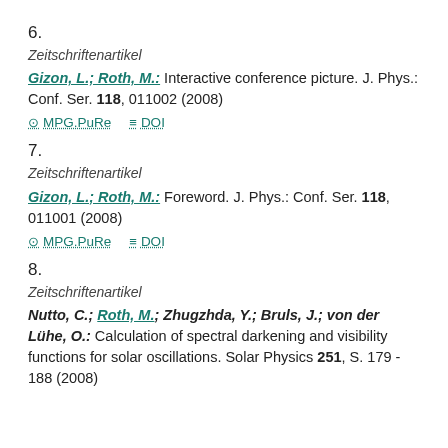6.
Zeitschriftenartikel
Gizon, L.; Roth, M.: Interactive conference picture. J. Phys.: Conf. Ser. 118, 011002 (2008)
MPG.PuRe   DOI
7.
Zeitschriftenartikel
Gizon, L.; Roth, M.: Foreword. J. Phys.: Conf. Ser. 118, 011001 (2008)
MPG.PuRe   DOI
8.
Zeitschriftenartikel
Nutto, C.; Roth, M.; Zhugzhda, Y.; Bruls, J.; von der Lühe, O.: Calculation of spectral darkening and visibility functions for solar oscillations. Solar Physics 251, S. 179 - 188 (2008)